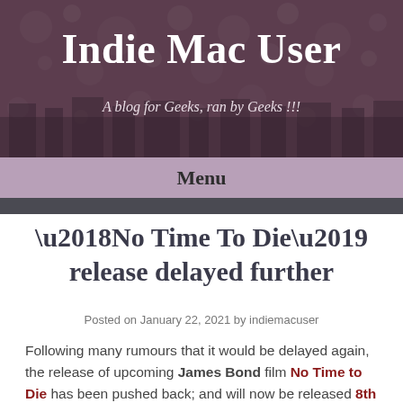Indie Mac User
A blog for Geeks, ran by Geeks !!!
Menu
‘No Time To Die’ release delayed further
Posted on January 22, 2021 by indiemacuser
Following many rumours that it would be delayed again, the release of upcoming James Bond film No Time to Die has been pushed back; and will now be released 8th October 2021.